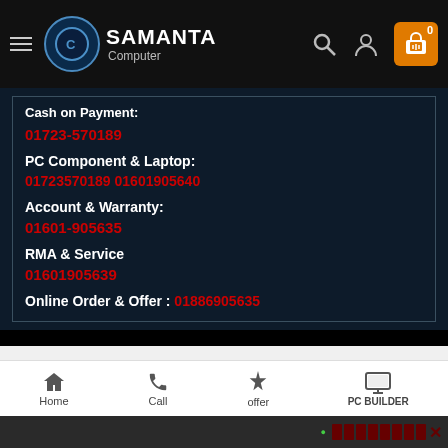[Figure (screenshot): Samanta Computer website header with logo, hamburger menu, search icon, user icon, and cart button showing 0 items]
Cash on Payment:
01723-570189
PC Component & Laptop:
01723570189 01601905640
Account & Warranty:
01601-905635
RMA & Service
01601905639
Online Order & Offer : 01886905635
FOLLOW US
[Figure (screenshot): Bottom navigation bar with Home, Call, offer, and PC BUILDER icons]